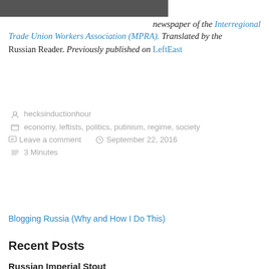[Figure (photo): Partial photo of a person, cropped at top of page]
newspaper of the Interregional Trade Union Workers Association (MPRA). Translated by the Russian Reader. Previously published on LeftEast
hecksinductionhour
economy, leftists, politics, putinism, regime, society
Leave a comment    September 22, 2016
3 Minutes
Blogging Russia (Why and How I Do This)
Recent Posts
Russian Imperial Stout
September 4, 2022